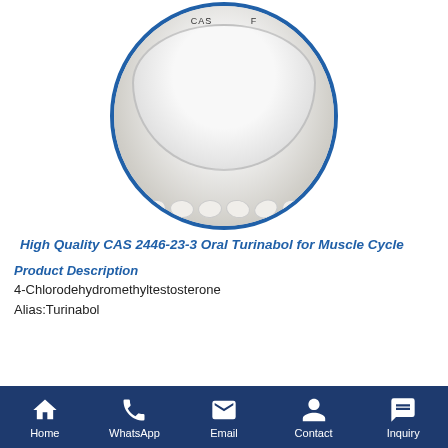[Figure (photo): Circular photo showing white powder in a glass bowl and white oval tablets arranged around it, with a blue circular border]
High Quality CAS 2446-23-3 Oral Turinabol for Muscle Cycle
Product Description
4-Chlorodehydromethyltestosterone
Alias:Turinabol
Home | WhatsApp | Email | Contact | Inquiry